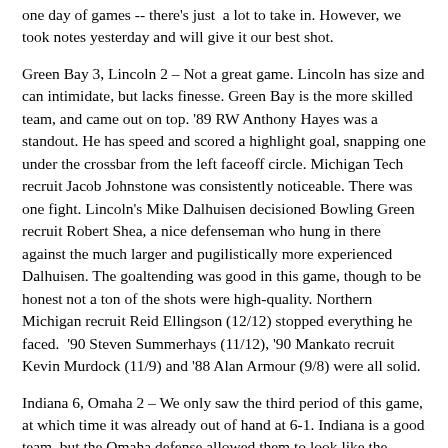one day of games -- there's just  a lot to take in. However, we took notes yesterday and will give it our best shot.
Green Bay 3, Lincoln 2 – Not a great game. Lincoln has size and can intimidate, but lacks finesse. Green Bay is the more skilled team, and came out on top. '89 RW Anthony Hayes was a standout. He has speed and scored a highlight goal, snapping one under the crossbar from the left faceoff circle. Michigan Tech recruit Jacob Johnstone was consistently noticeable. There was one fight. Lincoln's Mike Dalhuisen decisioned Bowling Green recruit Robert Shea, a nice defenseman who hung in there against the much larger and pugilistically more experienced Dalhuisen. The goaltending was good in this game, though to be honest not a ton of the shots were high-quality. Northern Michigan recruit Reid Ellingson (12/12) stopped everything he faced.  '90 Steven Summerhays (11/12), '90 Mankato recruit Kevin Murdock (11/9) and '88 Alan Armour (9/8) were all solid.
Indiana 6, Omaha 2 – We only saw the third period of this game, at which time it was already out of hand at 6-1. Indiana is a good team, but the Omaha defense allowed them to look like the Edmonton Oilers of the 1980s. '88 RW Brandon Richardson was a force for the Ice. 6'1", 182 lb. Indiana's Stanislav Galiev, a '92 from Russia, has big-time pro potential and will be draft eligible in 2010. The line of '91 Shane Bernsbach, Dartmouth recruit Jason